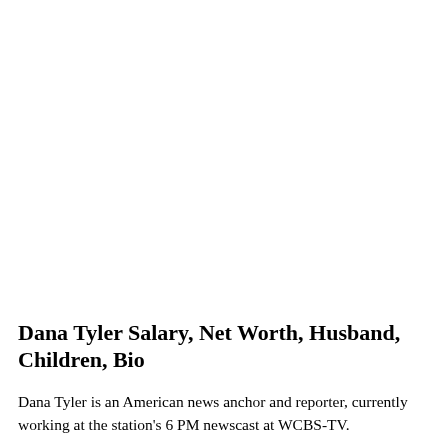Dana Tyler Salary, Net Worth, Husband, Children, Bio
Dana Tyler is an American news anchor and reporter, currently working at the station's 6 PM newscast at WCBS-TV.